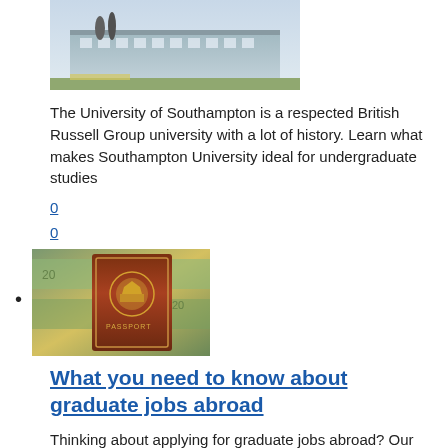[Figure (photo): University of Southampton campus building with sculptures in front]
The University of Southampton is a respected British Russell Group university with a lot of history. Learn what makes Southampton University ideal for undergraduate studies
0
0
[passport and euro banknotes photo]
What you need to know about graduate jobs abroad
Thinking about applying for graduate jobs abroad? Our guide may be able to help with your decision
0